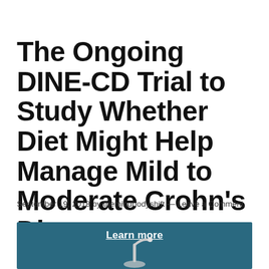The Ongoing DINE-CD Trial to Study Whether Diet Might Help Manage Mild to Moderate Crohn's Disease
September 19, 2018 by themindbodyshift — Leave a Comment
[Figure (photo): Teal/dark blue background with a stethoscope and a 'Learn more' link text overlay]